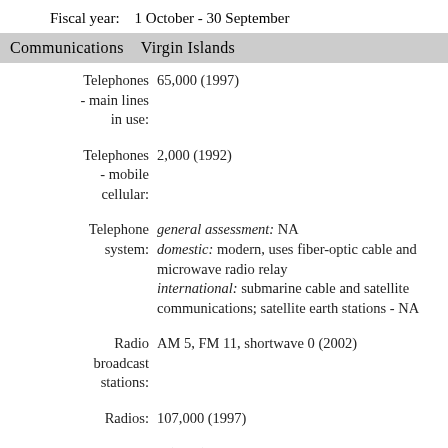Fiscal year:   1 October - 30 September
Communications   Virgin Islands
| Telephones - main lines in use: | 65,000 (1997) |
| Telephones - mobile cellular: | 2,000 (1992) |
| Telephone system: | general assessment: NA
domestic: modern, uses fiber-optic cable and microwave radio relay
international: submarine cable and satellite communications; satellite earth stations - NA |
| Radio broadcast stations: | AM 5, FM 11, shortwave 0 (2002) |
| Radios: | 107,000 (1997) |
| Television broadcast stations: | 2 (2002) |